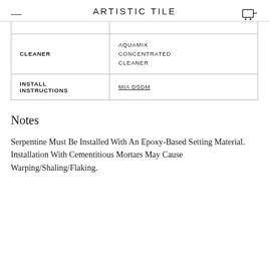ARTISTIC TILE
| CLEANER | AQUAMIX CONCENTRATED CLEANER |
| INSTALL INSTRUCTIONS | MIA DSDM |
Notes
Serpentine Must Be Installed With An Epoxy-Based Setting Material. Installation With Cementitious Mortars May Cause Warping/Shaling/Flaking.